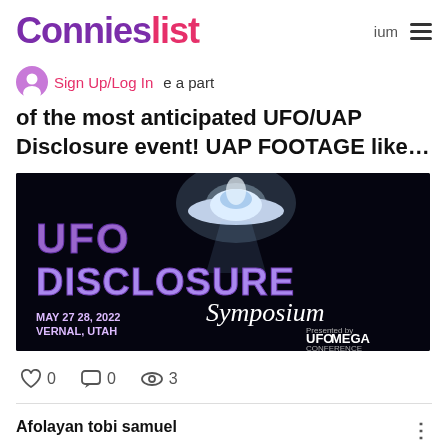Connieslist
Sign Up/Log In  e a part of the most anticipated UFO/UAP Disclosure event! UAP FOOTAGE like…
[Figure (photo): UFO Disclosure Symposium event banner - May 27 28, 2022 Vernal, Utah. Dark background with glowing UFO image and purple text reading UFO DISCLOSURE Symposium. UFO MEGA CONFERENCE branding visible.]
0  0  3
Afolayan tobi samuel
May 15, 2022